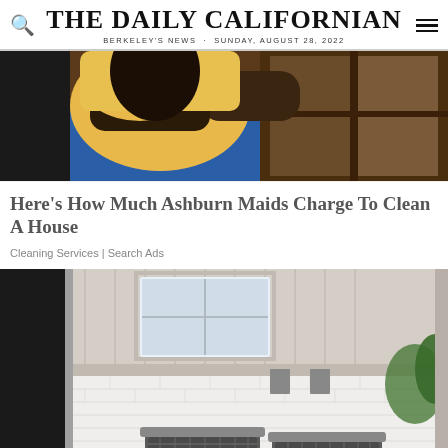THE DAILY CALIFORNIAN
BERKELEY'S NEWS - SUNDAY, AUGUST 28, 2022
[Figure (photo): Person in yellow shirt and blue apron cleaning or working near a window/door frame]
Here's How Much Ashburn Maids Charge To Clean A House
Cleaning Services | Search Ads
[Figure (photo): Two HVAC/air conditioning units outside a house with white painted brick foundation and board-and-batten siding, green lawn visible]